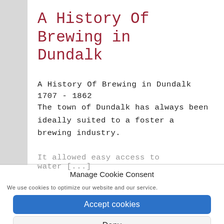A History Of Brewing in Dundalk
A History Of Brewing in Dundalk 1707 - 1862
The town of Dundalk has always been ideally suited to a foster a brewing industry.
It allowed easy access to water [...]
Manage Cookie Consent
We use cookies to optimize our website and our service.
Accept cookies
Deny